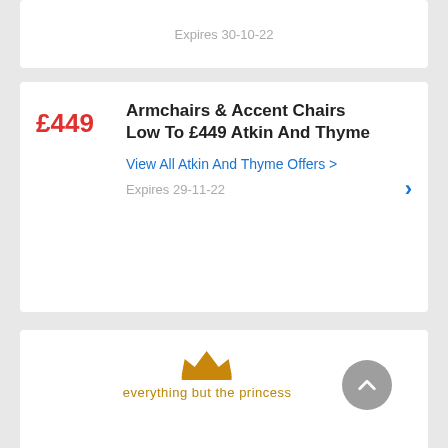Expires 30-10-22
£449
Armchairs & Accent Chairs Low To £449 Atkin And Thyme
View All Atkin And Thyme Offers >
Expires 29-11-22
[Figure (logo): Everything But The Princess brand logo with crown icon and text]